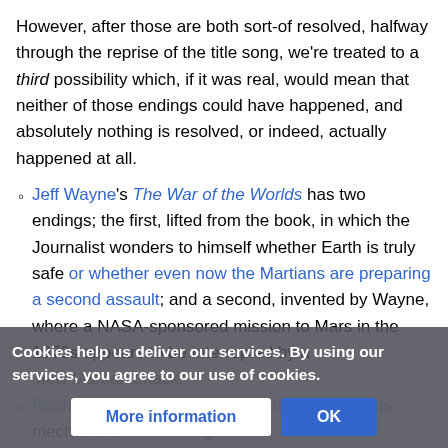However, after those are both sort-of resolved, halfway through the reprise of the title song, we're treated to a third possibility which, if it was real, would mean that neither of those endings could have happened, and absolutely nothing is resolved, or indeed, actually happened at all.
Jeff Wayne's The War of the Worlds has two endings; the first, lifted from the book, in which the Journalist wonders to himself whether Earth is truly safe or whether even now the Martians are preparing a second assault; and a second, invented by Wayne, where a NASA-sponsored mission to Mars in the 1970s appears to be interrupted by a new Martian attack.
Rush's 2112 ends with an unidentified ominous mechanism...
Cookies help us deliver our services. By using our services, you agree to our use of cookies.